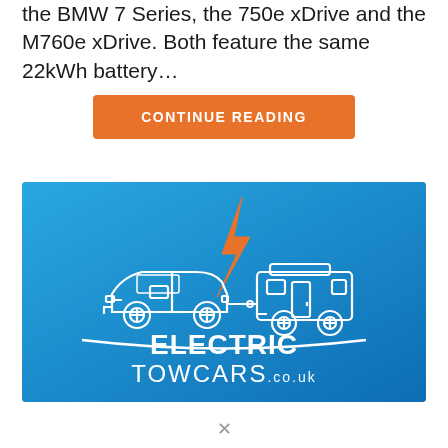the BMW 7 Series, the 750e xDrive and the M760e xDrive. Both feature the same 22kWh battery…
CONTINUE READING
[Figure (logo): Electric Towcars logo on a blue gradient background. Shows a white line-art illustration of a car towing a caravan, with an orange lightning bolt above. Text reads 'ELECTRIC TOWCARS.co.uk' in white.]